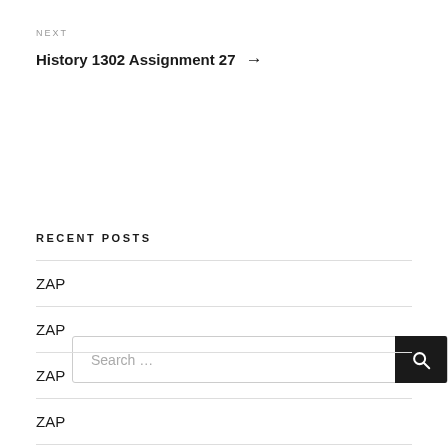NEXT
History 1302 Assignment 27 →
Search …
RECENT POSTS
ZAP
ZAP
ZAP
ZAP
Climate Change Effects On People TedTalk Video Interview Review